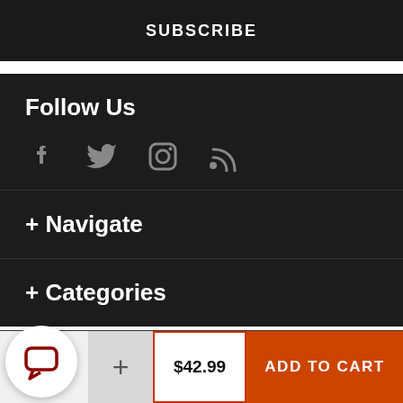SUBSCRIBE
Follow Us
[Figure (other): Social media icons: Facebook, Twitter, Instagram, RSS feed]
+ Navigate
+ Categories
$42.99  ADD TO CART